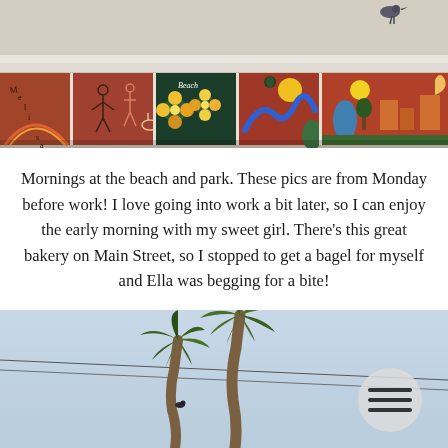[Figure (photo): Decorative painted ceramic tiles on a concrete ledge/wall at a beach park, with a bird perched on top. Tiles feature colorful artwork including text 'Beach', figures, flowers, sun, and abstract designs on terracotta red backgrounds.]
Mornings at the beach and park. These pics are from Monday before work! I love going into work a bit later, so I can enjoy the early morning with my sweet girl. There’s this great bakery on Main Street, so I stopped to get a bagel for myself and Ella was begging for a bite!
[Figure (photo): Two tall palm trees against a clear light blue sky, with power lines visible. A circular hamburger menu icon is visible in the lower right corner of the image.]